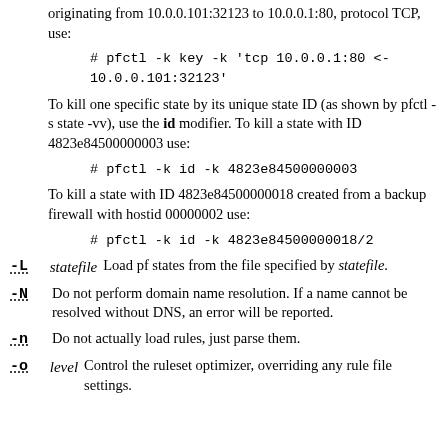originating from 10.0.0.101:32123 to 10.0.0.1:80, protocol TCP, use:
To kill one specific state by its unique state ID (as shown by pfctl -s state -vv), use the id modifier. To kill a state with ID 4823e84500000003 use:
To kill a state with ID 4823e84500000018 created from a backup firewall with hostid 00000002 use:
-L statefile — Load pf states from the file specified by statefile.
-N — Do not perform domain name resolution. If a name cannot be resolved without DNS, an error will be reported.
-n — Do not actually load rules, just parse them.
-o level — Control the ruleset optimizer, overriding any rule file settings.